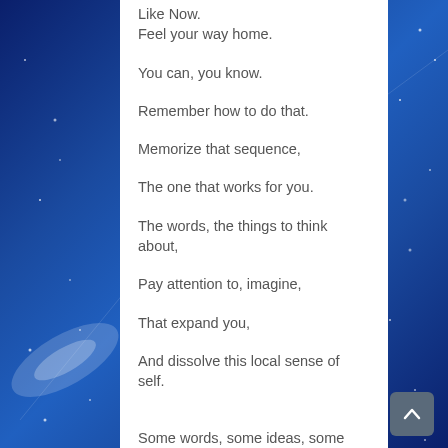Like Now.
Feel your way home.
You can, you know.
Remember how to do that.
Memorize that sequence,
The one that works for you.
The words, the things to think about,
Pay attention to, imagine,
That expand you,
And dissolve this local sense of self.
Some words, some ideas, some thoughts, some places, people, music,